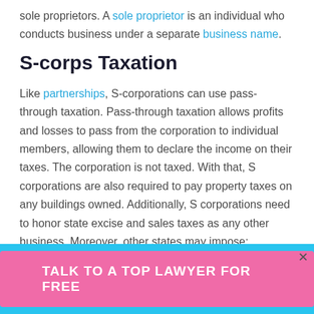sole proprietors. A sole proprietor is an individual who conducts business under a separate business name.
S-corps Taxation
Like partnerships, S-corporations can use pass-through taxation. Pass-through taxation allows profits and losses to pass from the corporation to individual members, allowing them to declare the income on their taxes. The corporation is not taxed. With that, S corporations are also required to pay property taxes on any buildings owned. Additionally, S corporations need to honor state excise and sales taxes as any other business. Moreover, other states may impose:
TALK TO A TOP LAWYER FOR FREE